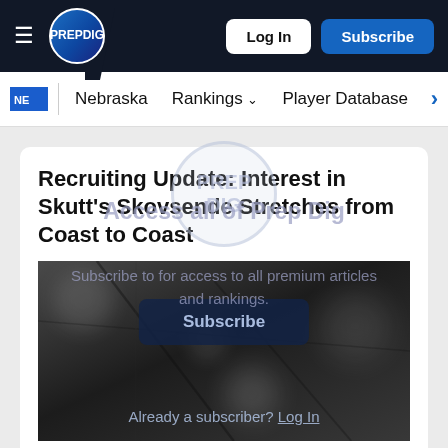PREP DIG — Log In | Subscribe
Nebraska | Rankings | Player Database
Recruiting Update: Interest in Skutt's Skovsende Stretches from Coast to Coast
[Figure (photo): Blurred/bokeh dark background photo of volleyball net or gym lighting with a paywall overlay showing 'Access all of Prep Dig', 'Subscribe to for access to all premium articles and rankings.', a Subscribe button, and 'Already a subscriber? Log In']